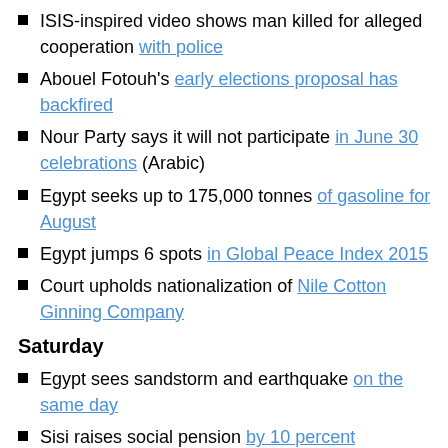ISIS-inspired video shows man killed for alleged cooperation with police
Abouel Fotouh's early elections proposal has backfired
Nour Party says it will not participate in June 30 celebrations (Arabic)
Egypt seeks up to 175,000 tonnes of gasoline for August
Egypt jumps 6 spots in Global Peace Index 2015
Court upholds nationalization of Nile Cotton Ginning Company
Saturday
Egypt sees sandstorm and earthquake on the same day
Sisi raises social pension by 10 percent
Report: Stability achieved by authorities in Egypt is